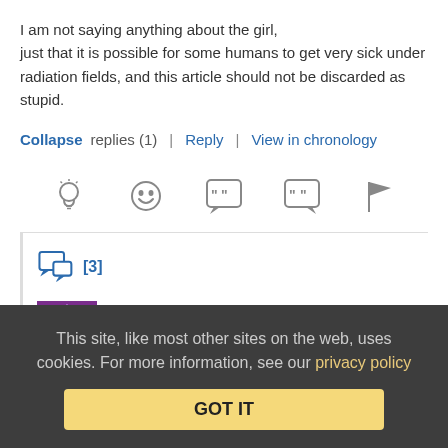I am not saying anything about the girl, just that it is possible for some humans to get very sick under radiation fields, and this article should not be discarded as stupid.
Collapse replies (1) | Reply | View in chronology
[Figure (infographic): Row of 5 reaction/action icons: lightbulb, laughing face, quote bubble with 66, quote bubble with 99, flag]
[3]
Rich  December 3, 2015 at 8:49 am
This site, like most other sites on the web, uses cookies. For more information, see our privacy policy
GOT IT